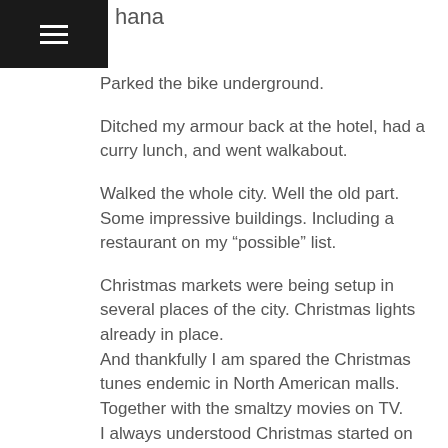hana
Parked the bike underground.
Ditched my armour back at the hotel, had a curry lunch, and went walkabout.
Walked the whole city. Well the old part.
Some impressive buildings. Including a restaurant on my “possible” list.
Christmas markets were being setup in several places of the city. Christmas lights already in place.
And thankfully I am spared the Christmas tunes endemic in North American malls. Together with the smaltzy movies on TV.
I always understood Christmas started on the 24th. And runs for 12 days. So this approach is much nicer 🙂
Back at the hotel to find it was late evening.